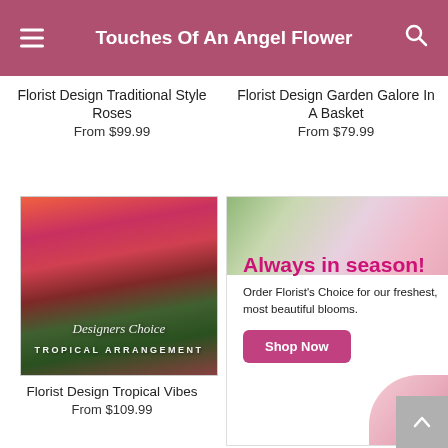Touches Of An Angel Flower
Florist Design Traditional Style Roses
From $99.99
Florist Design Garden Galore In A Basket
From $79.99
[Figure (photo): Tropical flower arrangement with red and pink heliconia, labeled 'Designers Choice Tropical Arrangement']
Florist Design Tropical Vibes
From $109.99
[Figure (infographic): Advertisement banner with flowers background, text 'Always in season! Order Florist's Choice for our freshest, most beautiful blooms.' with a pink 'Shop Now' button]